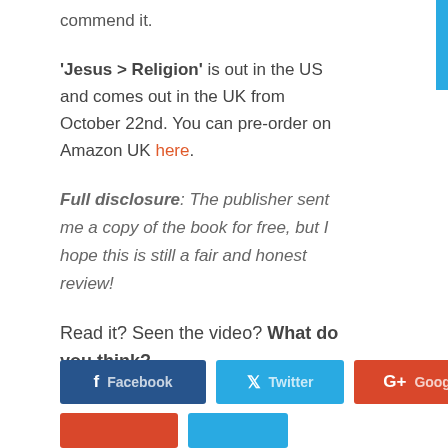commend it.
'Jesus > Religion' is out in the US and comes out in the UK from October 22nd. You can pre-order on Amazon UK here.
Full disclosure: The publisher sent me a copy of the book for free, but I hope this is still a fair and honest review!
Read it? Seen the video? What do you think?
[Figure (other): Social share buttons: Facebook, Twitter, Google+]